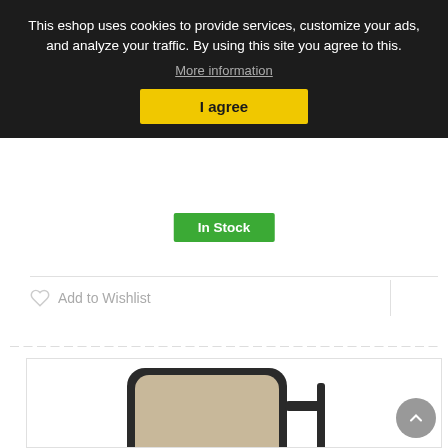This eshop uses cookies to provide services, customize your ads, and analyze your traffic. By using this site you agree to this.
More information
I agree
More
In Stock
Add to Wishlist
[Figure (photo): A car side mirror (black, rectangular) with mounting bracket, viewed from front-angle on a white background. Small bolts/screws are visible at the bottom.]